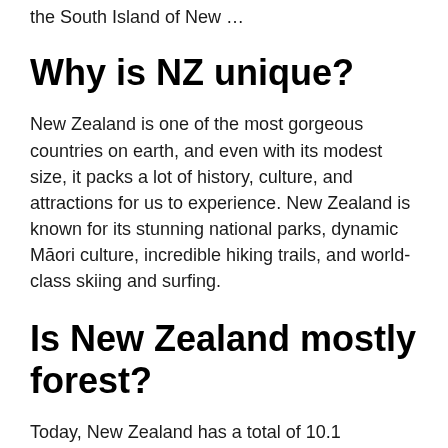the South Island of New …
Why is NZ unique?
New Zealand is one of the most gorgeous countries on earth, and even with its modest size, it packs a lot of history, culture, and attractions for us to experience. New Zealand is known for its stunning national parks, dynamic Māori culture, incredible hiking trails, and world-class skiing and surfing.
Is New Zealand mostly forest?
Today, New Zealand has a total of 10.1